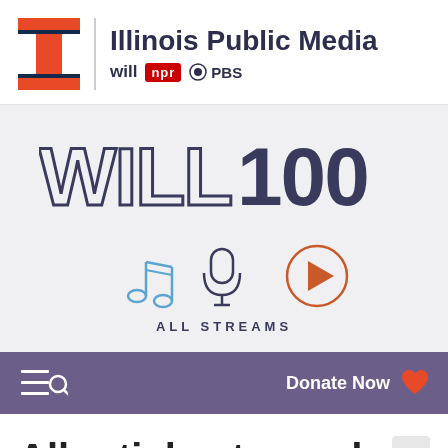[Figure (logo): Illinois Public Media header with University of Illinois I logo, WILL, NPR, PBS branding]
[Figure (logo): WILL100 anniversary logo in large outlined font]
[Figure (illustration): All Streams icons: music note, microphone, play button with text ALL STREAMS]
[Figure (screenshot): Navigation bar with hamburger/search icon on left and Donate Now with heart icon on right, purple background]
All articles tagged Mon Grante